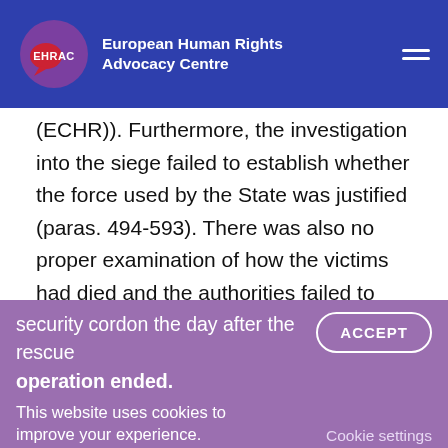EHRAC European Human Rights Advocacy Centre
(ECHR)). Furthermore, the investigation into the siege failed to establish whether the force used by the State was justified (paras. 494-593). There was also no proper examination of how the victims had died and the authorities failed to properly secure and record evidence before the site was irreparably altered by large machinery and the lifting of the security cordon the day after the rescue operation ended.
This website uses cookies to improve your experience.
ACCEPT
Cookie settings